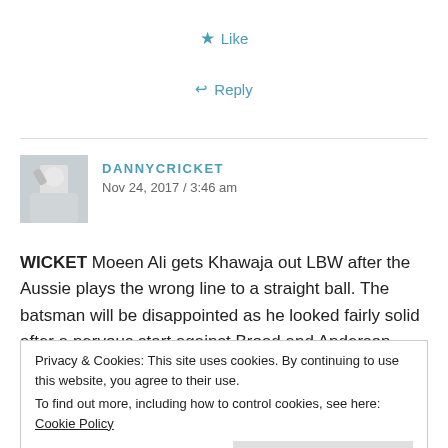★ Like
↩ Reply
DANNYCRICKET
Nov 24, 2017 / 3:46 am
WICKET Moeen Ali gets Khawaja out LBW after the Aussie plays the wrong line to a straight ball. The batsman will be disappointed as he looked fairly solid after a nervous start against Broad and Anderson. Australia 30/2.
Privacy & Cookies: This site uses cookies. By continuing to use this website, you agree to their use.
To find out more, including how to control cookies, see here: Cookie Policy
Close and accept
DANNYCRICKET